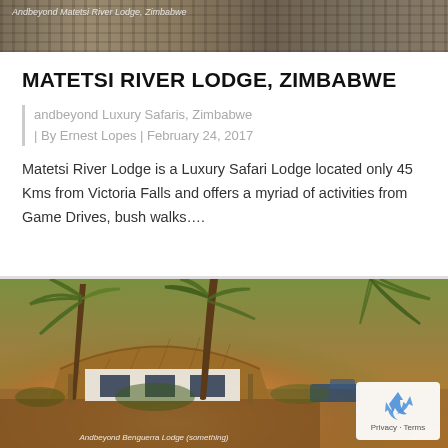[Figure (photo): Landscape photo strip at top showing rocky/natural terrain - header image for Matetsi River Lodge]
Andbeyond Matetsi River Lodge, Zimbabwe
MATETSI RIVER LODGE, ZIMBABWE
andbeyond Luxury Safaris, Zimbabwe | By Ernest Lopes | February 24, 2017
Matetsi River Lodge is a Luxury Safari Lodge located only 45 Kms from Victoria Falls and offers a myriad of activities from Game Drives, bush walks….
[Figure (photo): Outdoor photo of a luxury thatched safari lodge with palm trees, warm golden sunset light, wooden decking with blue furniture]
Andbeyond Benguerra Lodge (something)